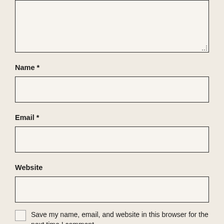[Figure (other): Textarea input box for comment, partially visible at top of page, with dotted resize handle at bottom-right]
Name *
[Figure (other): Text input box for Name field]
Email *
[Figure (other): Text input box for Email field]
Website
[Figure (other): Text input box for Website field]
Save my name, email, and website in this browser for the next time I comment.